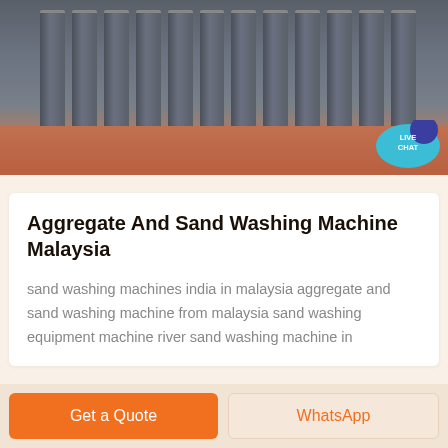[Figure (photo): Industrial aggregate/sand washing machine equipment — dark metal ribs/fins on a terracotta base, photographed from the side. A teal 'LIVE CHAT' speech-bubble icon overlaps the top-right corner.]
Aggregate And Sand Washing Machine Malaysia
sand washing machines india in malaysia aggregate and sand washing machine from malaysia sand washing equipment machine river sand washing machine in
Get a Quote
WhatsApp